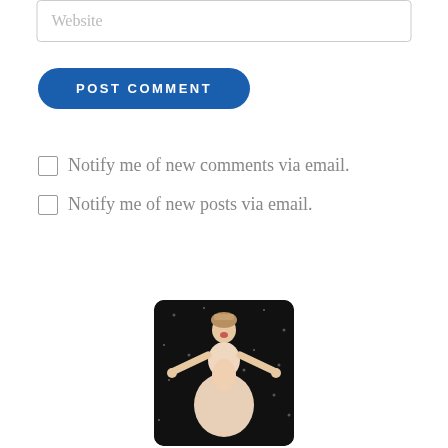Website
POST COMMENT
Notify me of new comments via email.
Notify me of new posts via email.
[Figure (photo): A performer in a white/pink period gown with arms outstretched, standing against a dark background with snow or sparkles falling.]